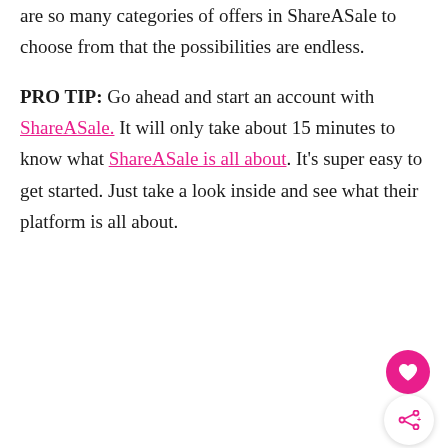are so many categories of offers in ShareASale to choose from that the possibilities are endless.
PRO TIP: Go ahead and start an account with ShareASale. It will only take about 15 minutes to know what ShareASale is all about. It's super easy to get started. Just take a look inside and see what their platform is all about.